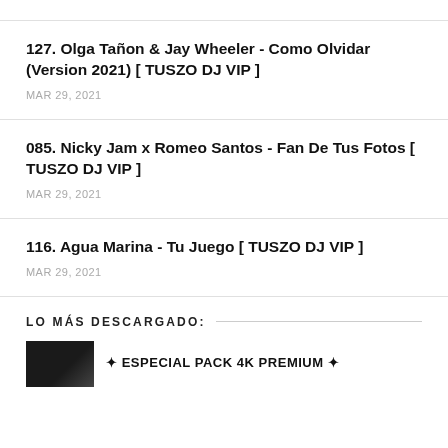127. Olga Tañon & Jay Wheeler - Como Olvidar (Version 2021) [ TUSZO DJ VIP ]
MAR 29, 2021
085. Nicky Jam x Romeo Santos - Fan De Tus Fotos [ TUSZO DJ VIP ]
MAR 29, 2021
116. Agua Marina - Tu Juego [ TUSZO DJ VIP ]
MAR 29, 2021
LO MÁS DESCARGADO:
[Figure (photo): Thumbnail image for ESPECIAL PACK 4K PREMIUM post]